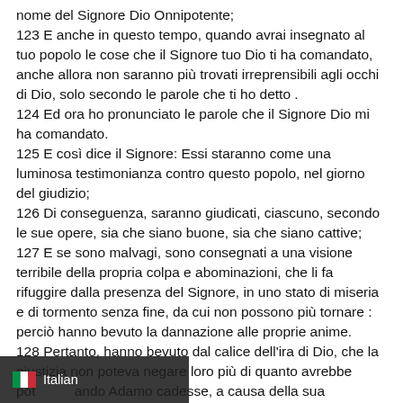nome del Signore Dio Onnipotente;
123 E anche in questo tempo, quando avrai insegnato al tuo popolo le cose che il Signore tuo Dio ti ha comandato, anche allora non saranno più trovati irreprensibili agli occhi di Dio, solo secondo le parole che ti ho detto .
124 Ed ora ho pronunciato le parole che il Signore Dio mi ha comandato.
125 E così dice il Signore: Essi staranno come una luminosa testimonianza contro questo popolo, nel giorno del giudizio;
126 Di conseguenza, saranno giudicati, ciascuno, secondo le sue opere, sia che siano buone, sia che siano cattive;
127 E se sono malvagi, sono consegnati a una visione terribile della propria colpa e abominazioni, che li fa rifuggire dalla presenza del Signore, in uno stato di miseria e di tormento senza fine, da cui non possono più tornare : perciò hanno bevuto la dannazione alle proprie anime.
128 Pertanto, hanno bevuto dal calice dell'ira di Dio, che la giustizia non poteva negare loro più di quanto avrebbe potuto quando Adamo cadesse, a causa della sua [text cut off]